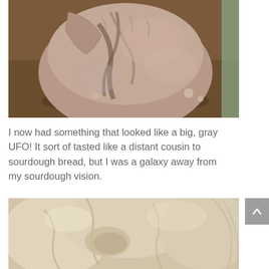[Figure (photo): A round loaf of grayish-brown bread with a cracked top sitting on a dark baking tray, viewed from above at an angle.]
I now had something that looked like a big, gray UFO! It sort of tasted like a distant cousin to sourdough bread, but I was a galaxy away from my sourdough vision.
[Figure (photo): Close-up photo of pale, lumpy dough showing a rough, uneven texture with visible folds and a dense interior.]